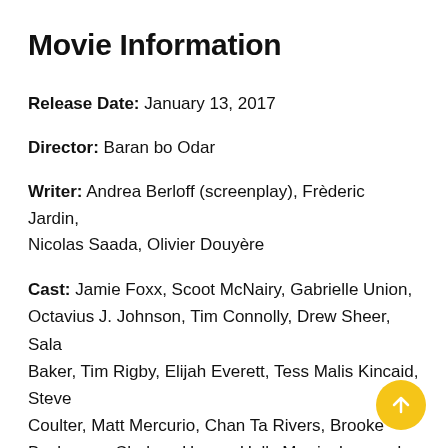Movie Information
Release Date: January 13, 2017
Director: Baran bo Odar
Writer: Andrea Berloff (screenplay), Frèderic Jardin, Nicolas Saada, Olivier Douyère
Cast: Jamie Foxx, Scoot McNairy, Gabrielle Union, Octavius J. Johnson, Tim Connolly, Drew Sheer, Sala Baker, Tim Rigby, Elijah Everett, Tess Malis Kincaid, Steve Coulter, Matt Mercurio, Chan Ta Rivers, Brooke Boxberger, Chelsea Hayes, Holly Morris, Leonardo Santaiti, Stephen Shelton, Jamie Hill, Richard Nunez, Anthony Michael Herrera, Gabrielle Jones, Big Boi, ...